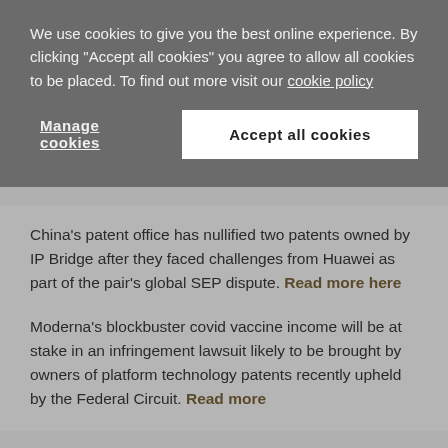We use cookies to give you the best online experience. By clicking "Accept all cookies" you agree to allow all cookies to be placed. To find out more visit our cookie policy
Manage cookies
Accept all cookies
China's patent office has nullified two patents owned by IP Bridge after they faced challenges from Huawei as part of the pair's global SEP dispute. Read more here
Moderna's blockbuster covid vaccine income will be at stake in an infringement lawsuit likely to be brought by owners of platform technology patents recently upheld by the Federal Circuit. Read more